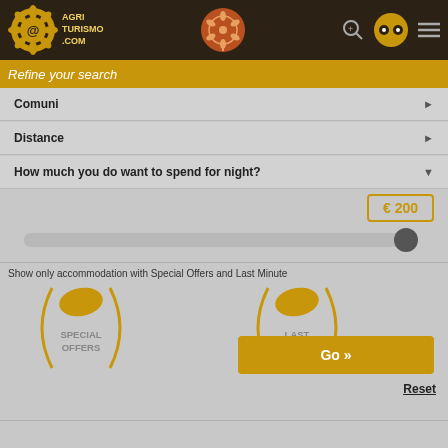[Figure (screenshot): Agriturismo.com website header with sunflower logo, navigation icons, and search refinement filters including Comuni, Distance, price slider set to €200, and special offers/last minute toggle buttons with a Go button]
AGRITURISMO.COM
Refine your search
Comuni
Distance
How much you do want to spend for night?
€ 200
Show only accommodation with Special Offers and Last Minute
SPECIAL OFFERS
LAST MINUTE
Go »
Reset